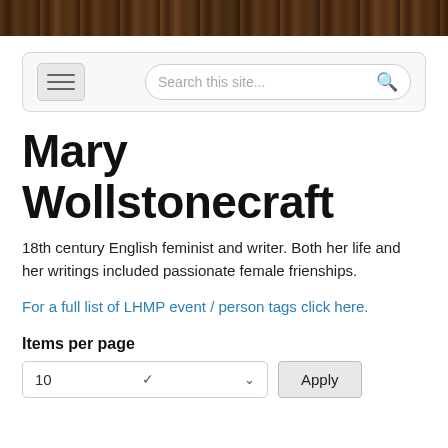[Figure (photo): Dark banner image showing a row of books on shelves, appearing like a library background in dark brown and black tones]
[Figure (screenshot): Navigation bar with hamburger menu icon on the left and a search box reading 'Search this site...' with a magnifying glass icon on the right]
Mary Wollstonecraft
18th century English feminist and writer. Both her life and her writings included passionate female frienships.
For a full list of LHMP event / person tags click here.
Items per page
[Figure (screenshot): Dropdown selector showing '10' with a chevron arrow, and an Apply button next to it]